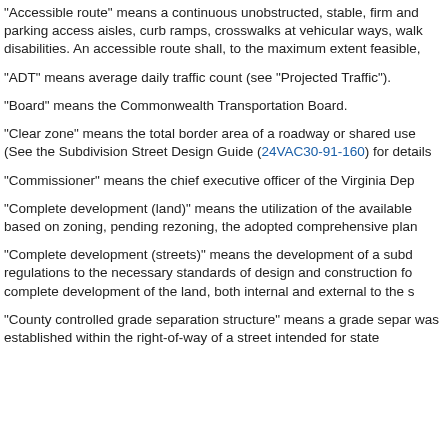"Accessible route" means a continuous unobstructed, stable, firm and parking access aisles, curb ramps, crosswalks at vehicular ways, walk disabilities. An accessible route shall, to the maximum extent feasible,
"ADT" means average daily traffic count (see "Projected Traffic").
"Board" means the Commonwealth Transportation Board.
"Clear zone" means the total border area of a roadway or shared use (See the Subdivision Street Design Guide (24VAC30-91-160) for details
"Commissioner" means the chief executive officer of the Virginia Dep
"Complete development (land)" means the utilization of the available based on zoning, pending rezoning, the adopted comprehensive plan
"Complete development (streets)" means the development of a subd regulations to the necessary standards of design and construction fo complete development of the land, both internal and external to the s
"County controlled grade separation structure" means a grade separ was established within the right-of-way of a street intended for state